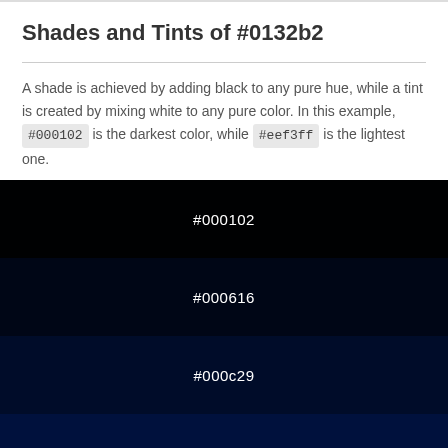Shades and Tints of #0132b2
A shade is achieved by adding black to any pure hue, while a tint is created by mixing white to any pure color. In this example, #000102 is the darkest color, while #eef3ff is the lightest one.
[Figure (infographic): Color swatches showing shades of #0132b2 from darkest to lightest, displaying hex codes: #000102, #000616, #000c29, #00113d, #001750]